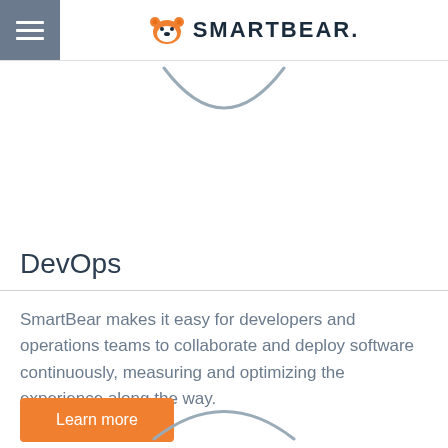SMARTBEAR.
[Figure (illustration): Bottom arc of SmartBear bear logo circle, partially visible below the header]
DevOps
SmartBear makes it easy for developers and operations teams to collaborate and deploy software continuously, measuring and optimizing the experience along the way.
Learn more
[Figure (illustration): Partial arc of another SmartBear logo/circle at the bottom of the page]